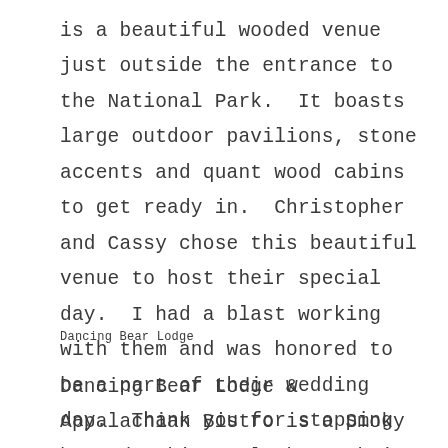is a beautiful wooded venue just outside the entrance to the National Park.  It boasts large outdoor pavilions, stone accents and quant wood cabins to get ready in.  Christopher and Cassy chose this beautiful venue to host their special day.  I had a blast working with them and was honored to be a part of their wedding day.  Thank you for stopping by and taking a look at their beautiful wedding day.
Dancing Bear Lodge
Dancing Bear Lodge & Appalachian Bistro is a Smoky Mountain wedding venue located in